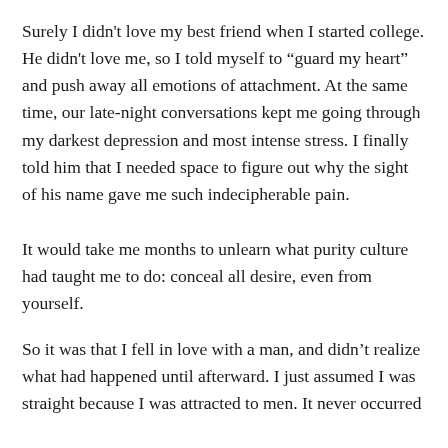Surely I didn't love my best friend when I started college. He didn't love me, so I told myself to “guard my heart” and push away all emotions of attachment. At the same time, our late-night conversations kept me going through my darkest depression and most intense stress. I finally told him that I needed space to figure out why the sight of his name gave me such indecipherable pain.
It would take me months to unlearn what purity culture had taught me to do: conceal all desire, even from yourself.
So it was that I fell in love with a man, and didn’t realize what had happened until afterward. I just assumed I was straight because I was attracted to men. It never occurred